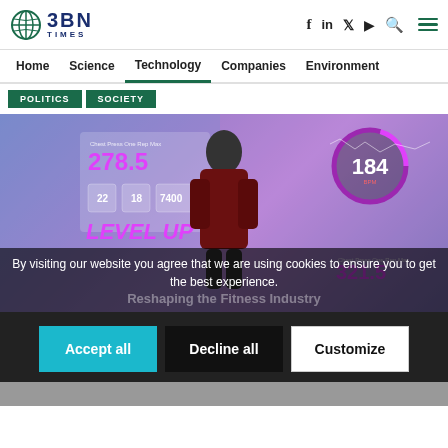BBN TIMES — Home | Science | Technology | Companies | Environment
POLITICS   SOCIETY
[Figure (photo): A person in a fitness setting surrounded by digital HUD overlays showing workout metrics: Chest Press One Rep Max 278.5, numbers 22, 18, 7400, LEVEL UP text in pink/purple, and a circular gauge showing 184 BPM on the right side, with 321.5 metric below.]
By visiting our website you agree that we are using cookies to ensure you to get the best experience.
Reshaping the Fitness Industry
Accept all   Decline all   Customize